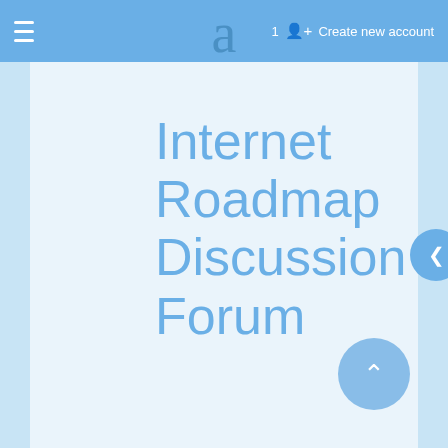≡  a  1  👤+ Create new account
Internet Roadmap Discussion Forum